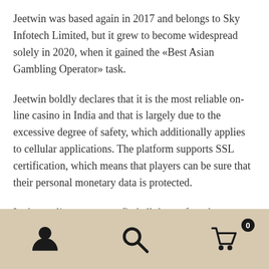Jeetwin was based again in 2017 and belongs to Sky Infotech Limited, but it grew to become widespread solely in 2020, when it gained the «Best Asian Gambling Operator» task.
Jeetwin boldly declares that it is the most reliable on-line casino in India and that is largely due to the excessive degree of safety, which additionally applies to cellular applications. The platform supports SSL certification, which means that players can be sure that their personal monetary data is protected.
In the appliance you can find all the preferred sports and playing video games from the casino section. We will tell you more about all this in our Jeetwin App Review.
[navigation bar with user icon, search icon, and cart icon with badge 0]